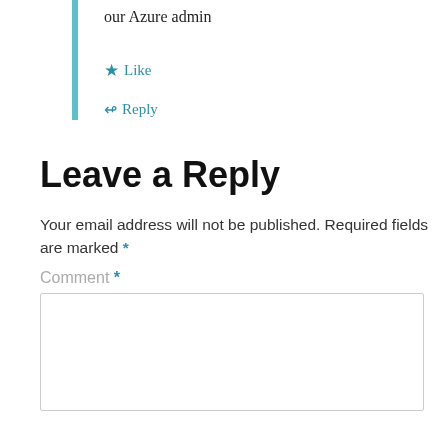our Azure admin
★ Like
↳ Reply
Leave a Reply
Your email address will not be published. Required fields are marked *
Comment *